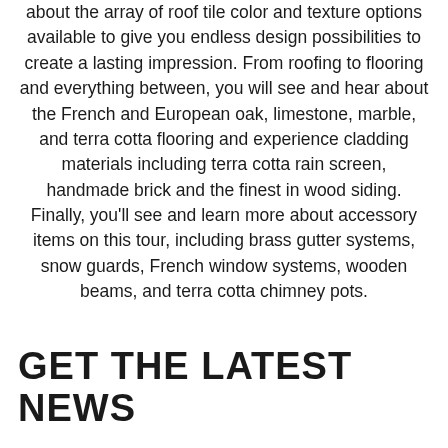about the array of roof tile color and texture options available to give you endless design possibilities to create a lasting impression. From roofing to flooring and everything between, you will see and hear about the French and European oak, limestone, marble, and terra cotta flooring and experience cladding materials including terra cotta rain screen, handmade brick and the finest in wood siding. Finally, you'll see and learn more about accessory items on this tour, including brass gutter systems, snow guards, French window systems, wooden beams, and terra cotta chimney pots.
GET THE LATEST NEWS